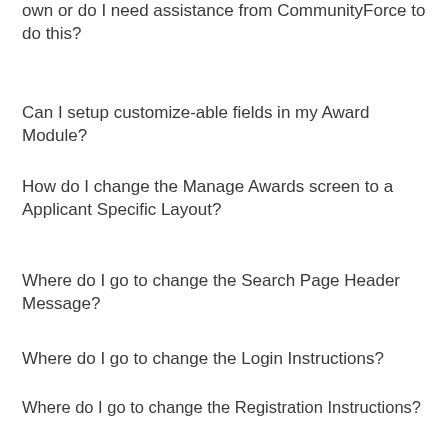own or do I need assistance from CommunityForce to do this?
Can I setup customize-able fields in my Award Module?
How do I change the Manage Awards screen to a Applicant Specific Layout?
Where do I go to change the Search Page Header Message?
Where do I go to change the Login Instructions?
Where do I go to change the Registration Instructions?
What is the Term of Service and Privacy Policy?
Can I create a Terms and Service and Privacy Policy